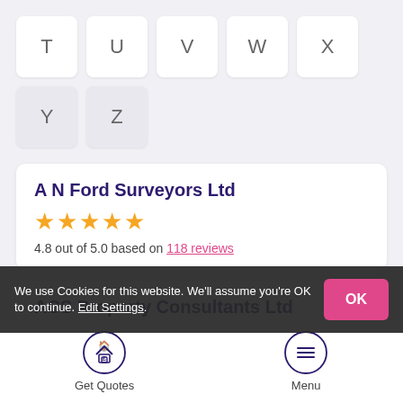T U V W X
Y Z
A N Ford Surveyors Ltd
★★★★★ 4.8 out of 5.0 based on 118 reviews
ACS Property Consultants Ltd
4.7 out of 5.0 based on 29 reviews
We use Cookies for this website. We'll assume you're OK to continue. Edit Settings.
Get Quotes
Menu